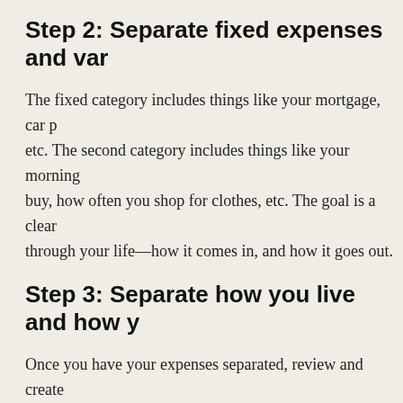Step 2: Separate fixed expenses and var…
The fixed category includes things like your mortgage, car p… etc. The second category includes things like your morning… buy, how often you shop for clothes, etc. The goal is a clear… through your life—how it comes in, and how it goes out.
Step 3: Separate how you live and how y…
Once you have your expenses separated, review and create… budget provides an opportunity to be proactive and intention… guide you toward your personal goals. The goal is to build a… supports the real priorities in your life. This is where you clar… settle on a plan that will support the direction you want to ta…
Here is a summary of general guidelines when creating a bu… rule of thumb is to allocate 50% for needs, 30% for wants, a… budgets are alike. If you live in a metropolitan area, chances… to be much higher than if you were to live in the suburbs, ju…